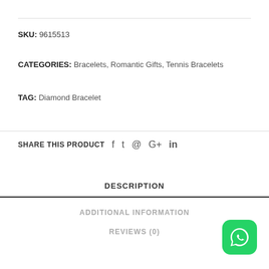SKU: 9615513
CATEGORIES: Bracelets, Romantic Gifts, Tennis Bracelets
TAG: Diamond Bracelet
SHARE THIS PRODUCT  f  t  p  G+  in
DESCRIPTION
ADDITIONAL INFORMATION
REVIEWS (0)
[Figure (logo): WhatsApp green rounded square icon]